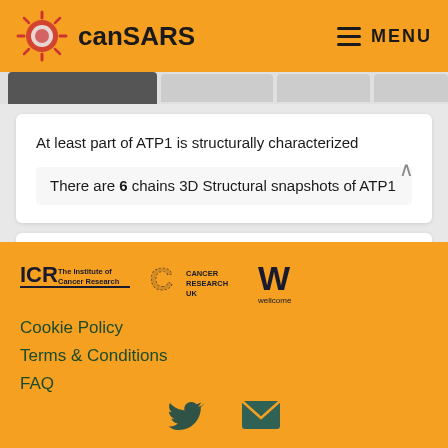canSARS MENU
At least part of ATP1 is structurally characterized
There are 6 chains 3D Structural snapshots of ATP1
canSAR identifies cavities that are ligandable by a small molecule
[Figure (logo): ICR The Institute of Cancer Research, Cancer Research UK, Wellcome logos in footer]
Cookie Policy
Terms & Conditions
FAQ